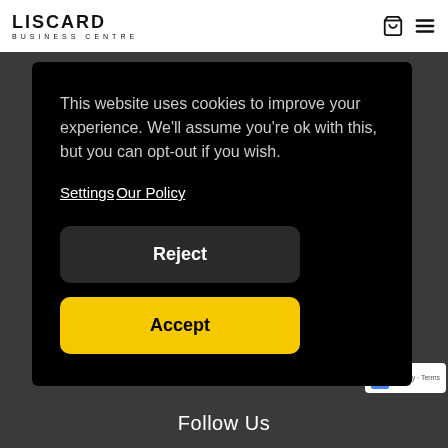LISCARD BUSINESS CENTRE
This website uses cookies to improve your experience. We'll assume you're ok with this, but you can opt-out if you wish.
Settings Our Policy
Reject
Accept
Follow Us